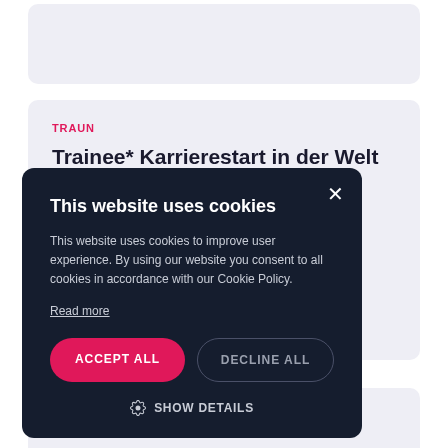[Figure (screenshot): Top partial card with light purple background]
TRAUN
Trainee* Karrierestart in der Welt von Microsoft Dynamics 365
This website uses cookies
This website uses cookies to improve user experience. By using our website you consent to all cookies in accordance with our Cookie Policy.
Read more
ACCEPT ALL
DECLINE ALL
SHOW DETAILS
Customer Success Specialist*